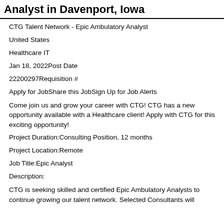Analyst in Davenport, Iowa
CTG Talent Network - Epic Ambulatory Analyst
United States
Healthcare IT
Jan 18, 2022Post Date
22200297Requisition #
Apply for JobShare this JobSign Up for Job Alerts
Come join us and grow your career with CTG! CTG has a new opportunity available with a Healthcare client! Apply with CTG for this exciting opportunity!
Project Duration:Consulting Position, 12 months
Project Location:Remote
Job Title:Epic Analyst
Description:
CTG is seeking skilled and certified Epic Ambulatory Analysts to continue growing our talent network. Selected Consultants will